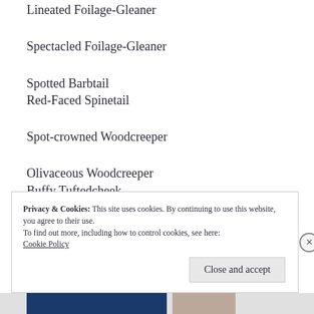Lineated Foilage-Gleaner
Spectacled Foilage-Gleaner
Spotted Barbtail
Red-Faced Spinetail
Spot-crowned Woodcreeper
Olivaceous Woodcreeper
Buffy Tuftedcheek
Streak-breasted Treehunter
Privacy & Cookies: This site uses cookies. By continuing to use this website, you agree to their use.
To find out more, including how to control cookies, see here:
Cookie Policy
Close and accept